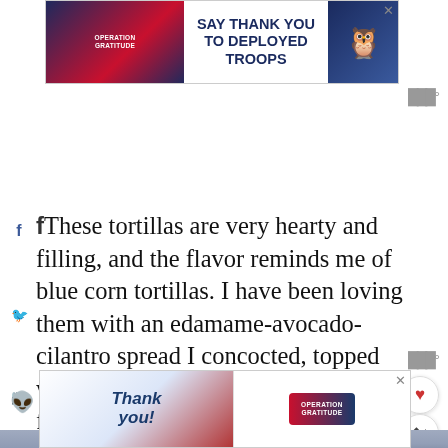[Figure (infographic): Operation Gratitude advertisement banner: 'SAY THANK YOU TO DEPLOYED TROOPS' with patriotic logo and owl graphic]
These tortillas are very hearty and filling, and the flavor reminds me of blue corn tortillas. I have been loving them with an edamame-avocado-cilantro spread I concocted, topped with a bevy of vegetables and herbs from the garden.
[Figure (photo): Close-up photo of a dark blue/black tortilla or wrap filled with green edamame-avocado spread, on a wooden surface]
[Figure (infographic): 'What's Next' overlay showing 1-Ingredient Red Lentil... with a thumbnail]
[Figure (infographic): Operation Gratitude thank you advertisement banner at bottom with group photo of firefighters]